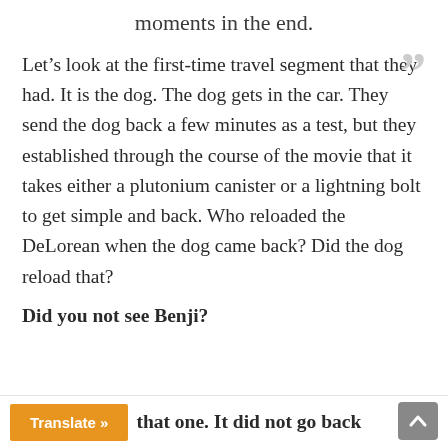moments in the end.
Let’s look at the first-time travel segment that they had. It is the dog. The dog gets in the car. They send the dog back a few minutes as a test, but they established through the course of the movie that it takes either a plutonium canister or a lightning bolt to get simple and back. Who reloaded the DeLorean when the dog came back? Did the dog reload that?
Did you not see Benji?
that one. It did not go back